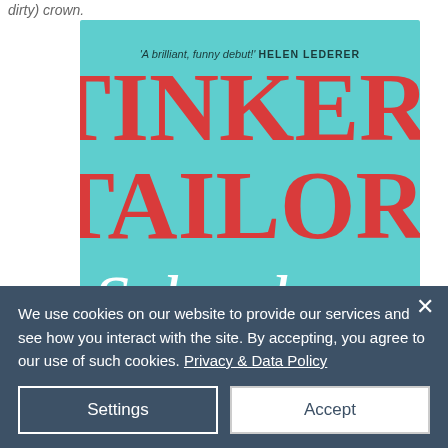dirty) crown.
[Figure (illustration): Book cover for 'Tinker, Tailor, Schoolmum, Spy' on a teal/turquoise background. Title text in red serif font for TINKER, TAILOR, and white cursive for Schoolmum. A blurb reads 'A brilliant, funny debut!' by Helen Lederer. An illustration shows a woman with red hair and sunglasses reading a newspaper. A circular scroll-up button overlaps the right side of the cover.]
We use cookies on our website to provide our services and see how you interact with the site. By accepting, you agree to our use of such cookies. Privacy & Data Policy
Settings
Accept